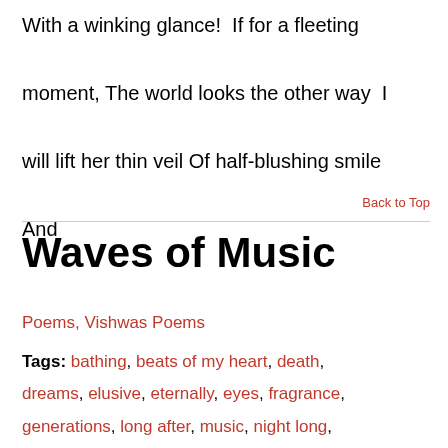With a winking glance!  If for a fleeting moment, The world looks the other way  I will lift her thin veil Of half-blushing smile And
Back to Top
Waves of Music
Poems, Vishwas Poems
Tags: bathing, beats of my heart, death, dreams, elusive, eternally, eyes, fragrance, generations, long after, music, night long,